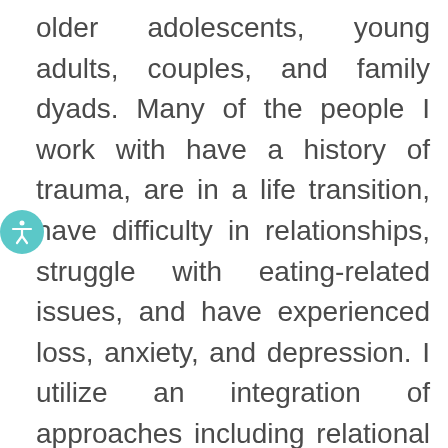older adolescents, young adults, couples, and family dyads. Many of the people I work with have a history of trauma, are in a life transition, have difficulty in relationships, struggle with eating-related issues, and have experienced loss, anxiety, and depression. I utilize an integration of approaches including relational and attachment-based modalities, Acceptance and Commitment Therapy (ACT), Emotionally-Focused